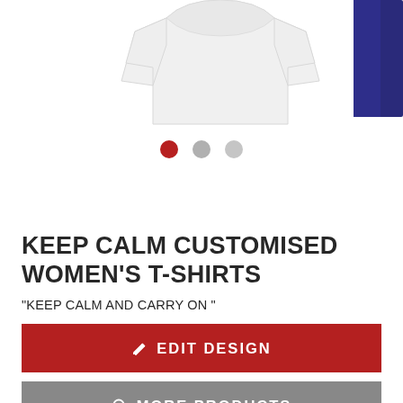[Figure (photo): White women's t-shirt product image on left, partial blue t-shirt on right edge]
[Figure (infographic): Three carousel navigation dots: red (active), gray, light gray]
KEEP CALM CUSTOMISED WOMEN'S T-SHIRTS
"KEEP CALM AND CARRY ON "
✏ EDIT DESIGN
🔍 MORE PRODUCTS